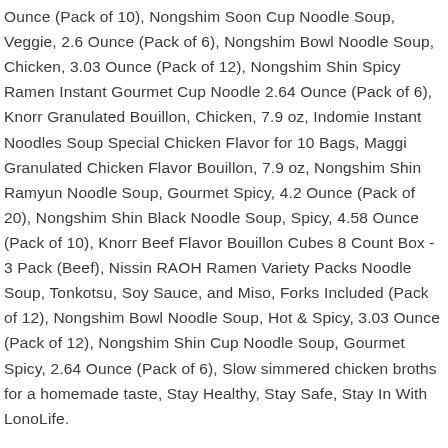Ounce (Pack of 10), Nongshim Soon Cup Noodle Soup, Veggie, 2.6 Ounce (Pack of 6), Nongshim Bowl Noodle Soup, Chicken, 3.03 Ounce (Pack of 12), Nongshim Shin Spicy Ramen Instant Gourmet Cup Noodle 2.64 Ounce (Pack of 6), Knorr Granulated Bouillon, Chicken, 7.9 oz, Indomie Instant Noodles Soup Special Chicken Flavor for 10 Bags, Maggi Granulated Chicken Flavor Bouillon, 7.9 oz, Nongshim Shin Ramyun Noodle Soup, Gourmet Spicy, 4.2 Ounce (Pack of 20), Nongshim Shin Black Noodle Soup, Spicy, 4.58 Ounce (Pack of 10), Knorr Beef Flavor Bouillon Cubes 8 Count Box - 3 Pack (Beef), Nissin RAOH Ramen Variety Packs Noodle Soup, Tonkotsu, Soy Sauce, and Miso, Forks Included (Pack of 12), Nongshim Bowl Noodle Soup, Hot & Spicy, 3.03 Ounce (Pack of 12), Nongshim Shin Cup Noodle Soup, Gourmet Spicy, 2.64 Ounce (Pack of 6), Slow simmered chicken broths for a homemade taste, Stay Healthy, Stay Safe, Stay In With LonoLife.